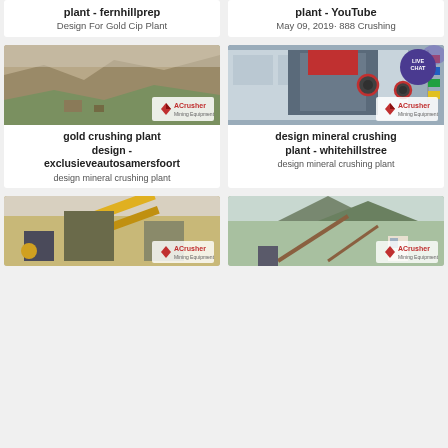plant - fernhillprep
Design For Gold Cip Plant
plant - YouTube
May 09, 2019· 888 Crushing
[Figure (photo): Quarry/open-pit mining site with excavated rock faces and mining equipment, ACrusher Mining Equipment logo overlay]
[Figure (photo): Large industrial crushing machine in a factory hall with flags, red circular highlights, ACrusher Mining Equipment logo overlay, LIVE CHAT bubble]
gold crushing plant design - exclusieveautosamersfoort
design mineral crushing plant
design mineral crushing plant - whitehillstree
design mineral crushing plant
[Figure (photo): Yellow conveyor belt crushing plant setup in sandy/desert area with machinery]
[Figure (photo): Mining plant with conveyor structures against mountain backdrop, ACrusher logo visible]